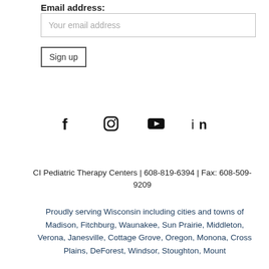Email address:
Your email address
Sign up
[Figure (infographic): Social media icons: Facebook, Instagram, YouTube, LinkedIn]
CI Pediatric Therapy Centers | 608-819-6394 | Fax: 608-509-9209
Proudly serving Wisconsin including cities and towns of Madison, Fitchburg, Waunakee, Sun Prairie, Middleton, Verona, Janesville, Cottage Grove, Oregon, Monona, Cross Plains, DeForest, Windsor, Stoughton, Mount